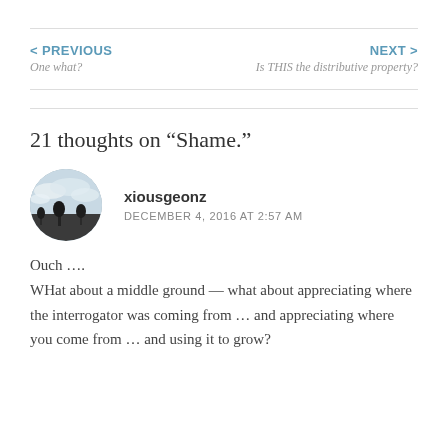< PREVIOUS
One what?
NEXT >
Is THIS the distributive property?
21 thoughts on “Shame.”
[Figure (photo): Circular avatar photo of user xiousgeonz showing a sky with clouds and tree silhouettes]
xiousgeonz
DECEMBER 4, 2016 AT 2:57 AM
Ouch ....
WHat about a middle ground — what about appreciating where the interrogator was coming from … and appreciating where you come from … and using it to grow?